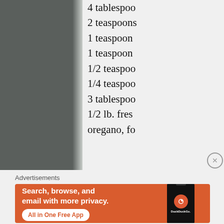[Figure (photo): Dark gray/charcoal colored background photo, partially visible, with a torn or rough right edge transitioning to lighter tone]
4 tablespoo
2 teaspoons
1 teaspoon
1 teaspoon
1/2 teaspoo
1/4 teaspoo
3 tablespoo
1/2 lb. fres
oregano, fo
Advertisements
[Figure (screenshot): DuckDuckGo advertisement banner on orange background. Text: 'Search, browse, and email with more privacy. All in One Free App'. Shows a smartphone with DuckDuckGo logo and branding.]